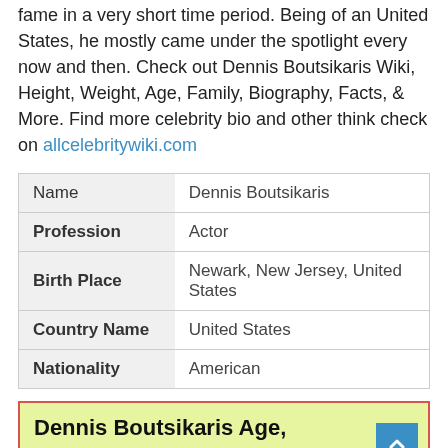fame in a very short time period. Being of an United States, he mostly came under the spotlight every now and then. Check out Dennis Boutsikaris Wiki, Height, Weight, Age, Family, Biography, Facts, & More. Find more celebrity bio and other think check on allcelebritywiki.com
| Name | Dennis Boutsikaris |
| Profession | Actor |
| Birth Place | Newark, New Jersey, United States |
| Country Name | United States |
| Nationality | American |
Dennis Boutsikaris Age, Birthday Facts (2020)
Are you looking Dennis Boutsikaris Birthday & Age? Now